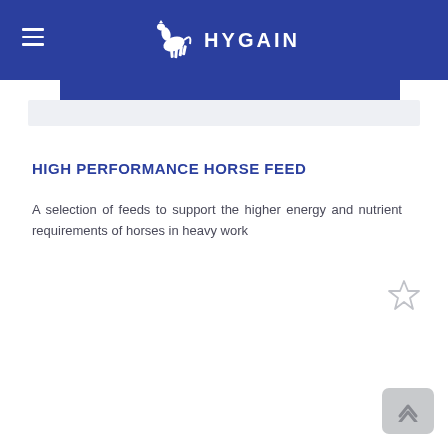HYGAIN
HIGH PERFORMANCE HORSE FEED
A selection of feeds to support the higher energy and nutrient requirements of horses in heavy work
[Figure (illustration): Star/bookmark outline icon in grey]
[Figure (illustration): Back to top arrow button in light grey rounded rectangle]